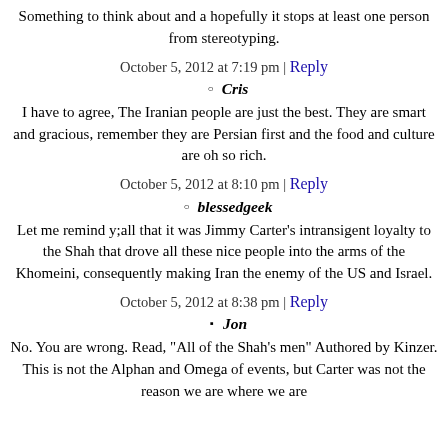Something to think about and a hopefully it stops at least one person from stereotyping.
October 5, 2012 at 7:19 pm | Reply
Cris
I have to agree, The Iranian people are just the best. They are smart and gracious, remember they are Persian first and the food and culture are oh so rich.
October 5, 2012 at 8:10 pm | Reply
blessedgeek
Let me remind y;all that it was Jimmy Carter’s intransigent loyalty to the Shah that drove all these nice people into the arms of the Khomeini, consequently making Iran the enemy of the US and Israel.
October 5, 2012 at 8:38 pm | Reply
Jon
No. You are wrong. Read, "All of the Shah's men" Authored by Kinzer.
This is not the Alphan and Omega of events, but Carter was not the reason we are where we are